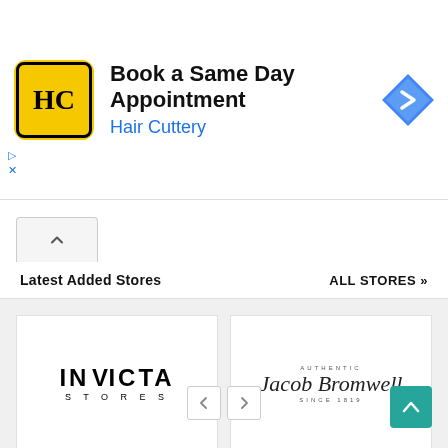[Figure (logo): Hair Cuttery advertisement banner with HC logo in yellow square, headline 'Book a Same Day Appointment', subtext 'Hair Cuttery', and a blue diamond navigation icon]
Latest Added Stores
ALL STORES »
[Figure (logo): INVICTA STORES logo in bold black capital letters with 'STORES' in small tracked letters below]
INVICTA STORES
[Figure (logo): Jacob Bromwell logo with 'AUTHENTIC' above, cursive script signature 'Jacob Bromwell', and 'SINCE 1819' below]
JACOB BROMWELL